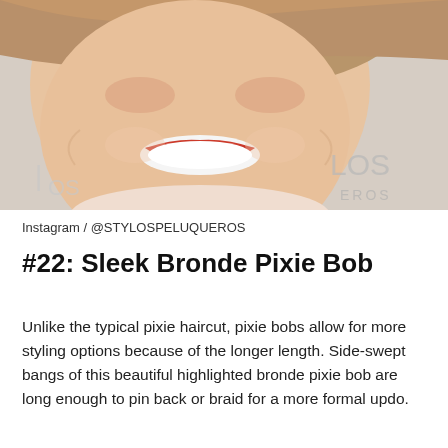[Figure (photo): Close-up photo of a woman with a short bronde pixie bob haircut, smiling broadly with red lipstick. Background shows a salon logo reading 'STYLOS PELUQUEROS'.]
Instagram / @STYLOSPELUQUEROS
#22: Sleek Bronde Pixie Bob
Unlike the typical pixie haircut, pixie bobs allow for more styling options because of the longer length. Side-swept bangs of this beautiful highlighted bronde pixie bob are long enough to pin back or braid for a more formal updo.